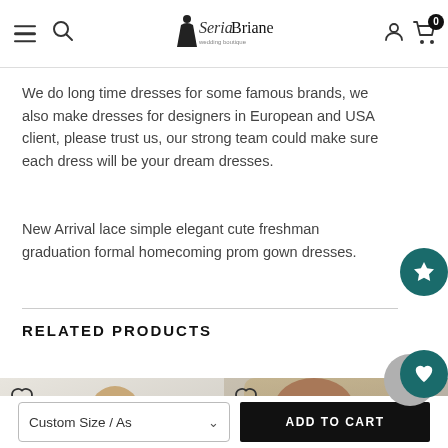SeriaBriane [logo] navigation header with hamburger menu, search, user icon, cart (0)
We do long time dresses for some famous brands, we also make dresses for designers in European and USA client, please trust us, our strong team could make sure each dress will be your dream dresses.
New Arrival lace simple elegant cute freshman graduation formal homecoming prom gown dresses.
RELATED PRODUCTS
[Figure (photo): Product photo of a woman in a light/cream formal gown dress with heart/wishlist icon overlay]
[Figure (photo): Product photo of a woman in a yellow/lime lace formal dress with heart/wishlist icon overlay]